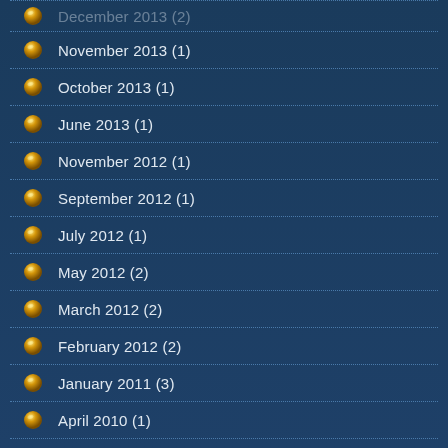November 2013 (1)
October 2013 (1)
June 2013 (1)
November 2012 (1)
September 2012 (1)
July 2012 (1)
May 2012 (2)
March 2012 (2)
February 2012 (2)
January 2011 (3)
April 2010 (1)
March 2010 (2)
September 2009 (2)
May 2008 (2)